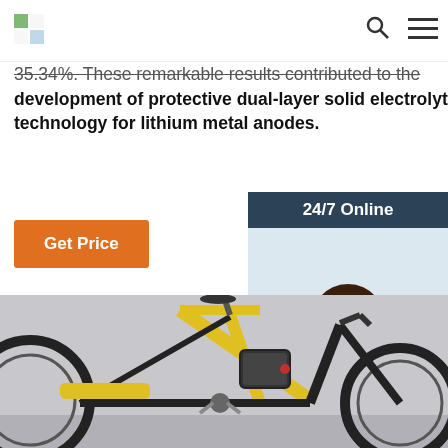Logo | Search | Menu
35.34%. These remarkable results contributed to the development of protective dual-layer solid electrolyte interphase technology for lithium metal anodes.
Get Price
[Figure (photo): Customer service woman with headset, 24/7 Online panel with Click here for free chat and QUOTATION button]
[Figure (photo): Close-up photo of an electric mountain bike with yellow and black frame, showing the battery pack mounted on the frame]